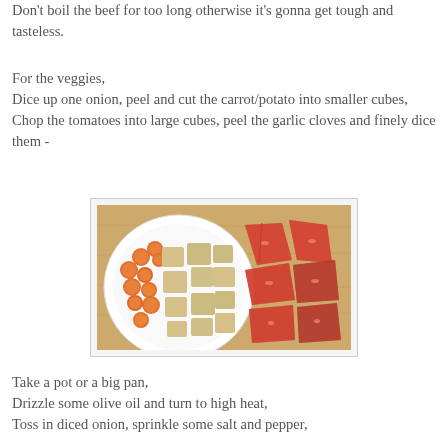Don't boil the beef for too long otherwise it's gonna get tough and tasteless.
For the veggies,
Dice up one onion, peel and cut the carrot/potato into smaller cubes,
Chop the tomatoes into large cubes, peel the garlic cloves and finely dice them -
[Figure (photo): A white bowl containing sliced carrots and cubed potatoes next to chopped tomatoes on a wooden cutting board.]
Take a pot or a big pan,
Drizzle some olive oil and turn to high heat,
Toss in diced onion, sprinkle some salt and pepper,